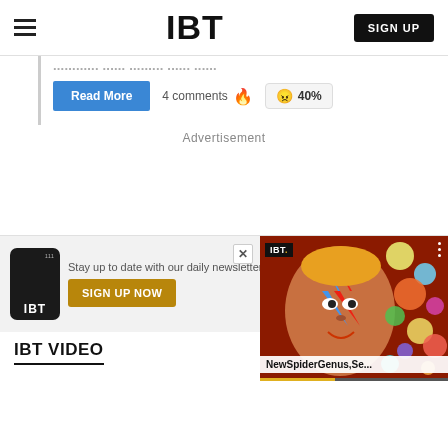IBT
...article title partial (cropped)...
Read More   4 comments   40%
Advertisement
Stay up to date with our daily newsletter  Get...
SIGN UP NOW
[Figure (screenshot): Video player overlay showing IBT logo, face art, NewSpiderGenus,Se... title, and colorful bubbles]
IBT VIDEO